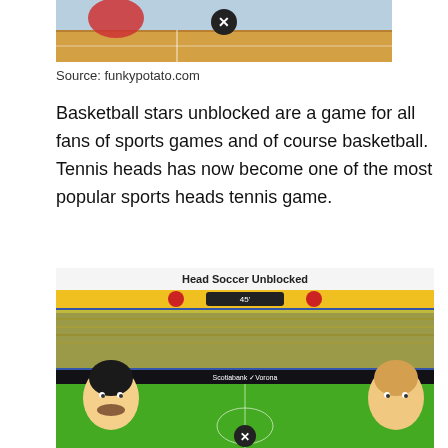[Figure (screenshot): Top portion of a sports game screenshot showing a tennis/basketball game UI with a close (X) button overlaid]
Source: funkypotato.com
Basketball stars unblocked are a game for all fans of sports games and of course basketball. Tennis heads has now become one of the most popular sports heads tennis game.
[Figure (screenshot): Head Soccer Unblocked game screenshot showing two cartoon soccer players on a field with a stadium crowd in the background, a close (X) button at the bottom]